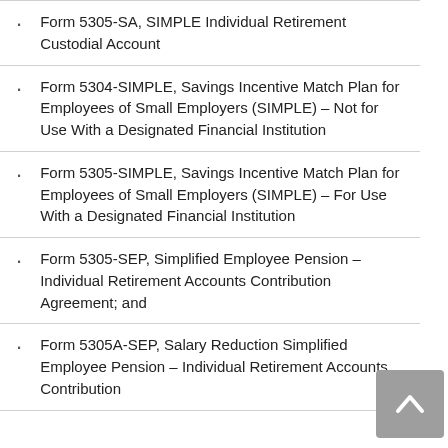Form 5305-SA, SIMPLE Individual Retirement Custodial Account
Form 5304-SIMPLE, Savings Incentive Match Plan for Employees of Small Employers (SIMPLE) – Not for Use With a Designated Financial Institution
Form 5305-SIMPLE, Savings Incentive Match Plan for Employees of Small Employers (SIMPLE) – For Use With a Designated Financial Institution
Form 5305-SEP, Simplified Employee Pension – Individual Retirement Accounts Contribution Agreement; and
Form 5305A-SEP, Salary Reduction Simplified Employee Pension – Individual Retirement Accounts Contribution